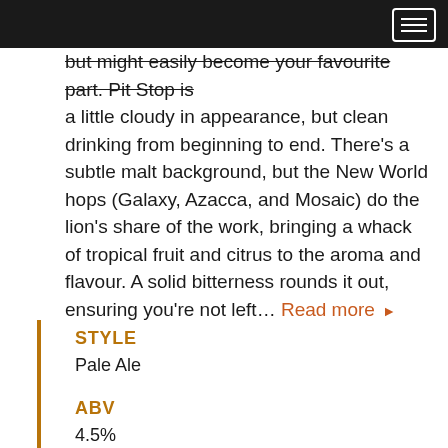but might easily become your favourite part. Pit Stop is a little cloudy in appearance, but clean drinking from beginning to end. There's a subtle malt background, but the New World hops (Galaxy, Azacca, and Mosaic) do the lion's share of the work, bringing a whack of tropical fruit and citrus to the aroma and flavour. A solid bitterness rounds it out, ensuring you're not left... Read more ▶
STYLE
Pale Ale
ABV
4.5%
BITTERNESS
40 IBU